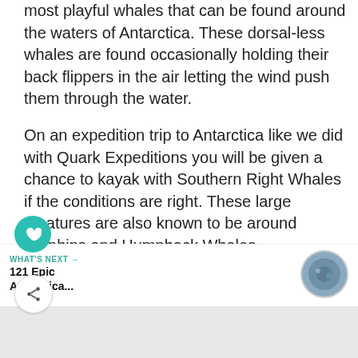most playful whales that can be found around the waters of Antarctica. These dorsal-less whales are found occasionally holding their back flippers in the air letting the wind push them through the water.
On an expedition trip to Antarctica like we did with Quark Expeditions you will be given a chance to kayak with Southern Right Whales if the conditions are right. These large creatures are also known to be around Dolphins and Humpback Whales.
WHAT'S NEXT → 121 Epic Antarctica...